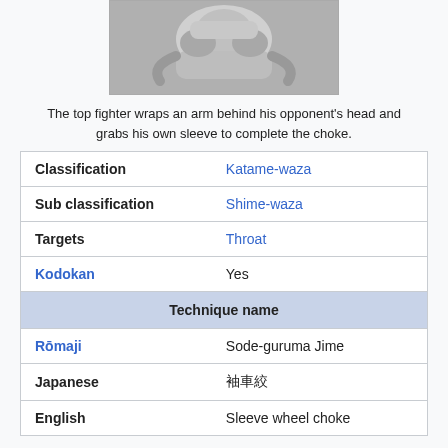[Figure (photo): Black and white photo of a judo/martial arts technique showing top fighter with arm around opponent's head, viewed from above, upside down orientation]
The top fighter wraps an arm behind his opponent's head and grabs his own sleeve to complete the choke.
| Classification | Katame-waza |
| Sub classification | Shime-waza |
| Targets | Throat |
| Kodokan | Yes |
| Technique name |  |
| Rōmaji | Sode-guruma Jime |
| Japanese | 袖車絞 |
| English | Sleeve wheel choke |